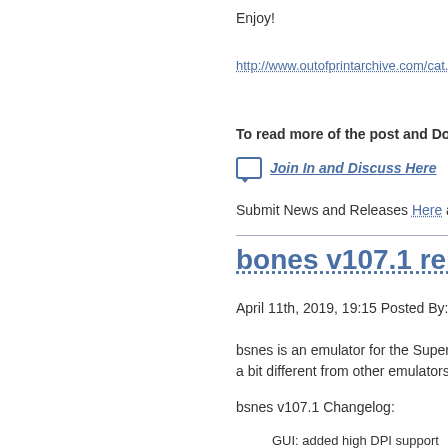Enjoy!
http://www.outofprintarchive.com/cat...agazine...
To read more of the post and Download, cli...
Join In and Discuss Here
Submit News and Releases Here and Contact...
bones v107.1 released!
April 11th, 2019, 19:15 Posted By: wraggster
bsnes is an emulator for the Super Famicom a... a bit different from other emulators: it focuses o...
bsnes v107.1 Changelog:
GUI: added high DPI support
GUI: fixed the state manager image previ...
Windows: added a new waveOut driver wi...
Windows: corrected the XAudio 2.1 dynam...
Windows: corrected the Direct3D 9.0 fulls...
Windows: fixed XInput controller support d...
SFC: added high-level emulation for the D...
SFC: fixed a slight rendering glitch in the i...
https://byuu.org